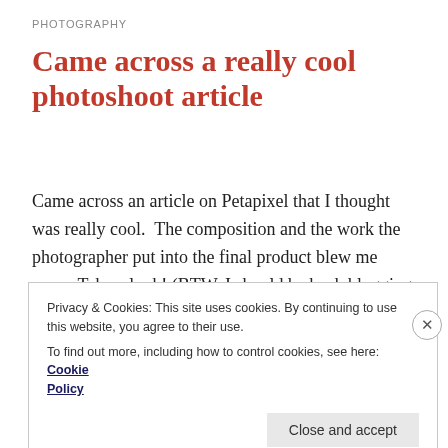PHOTOGRAPHY
Came across a really cool photoshoot article
Came across an article on Petapixel that I thought was really cool.  The composition and the work the photographer put into the final product blew me away. Take a look! (BTW, I should be back blogging soon, I'm studying for a big exam.) Continue reading
AUGUST 8, 2018 / LEAVE A COMMENT
Privacy & Cookies: This site uses cookies. By continuing to use this website, you agree to their use.
To find out more, including how to control cookies, see here: Cookie Policy